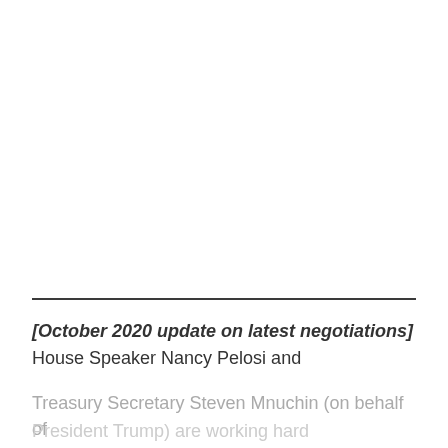[October 2020 update on latest negotiations] House Speaker Nancy Pelosi and Treasury Secretary Steven Mnuchin (on behalf of President Trump) are working hard